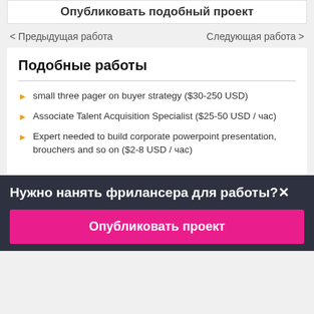Опубликовать подобный проект
< Предыдущая работа   Следующая работа >
Подобные работы
small three pager on buyer strategy ($30-250 USD)
Associate Talent Acquisition Specialist ($25-50 USD / час)
Expert needed to build corporate powerpoint presentation, brouchers and so on ($2-8 USD / час)
Нужно нанять фрилансера для работы?×
Опубликовать проект